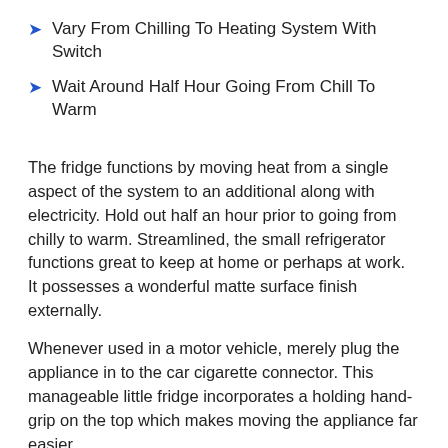Vary From Chilling To Heating System With Switch
Wait Around Half Hour Going From Chill To Warm
The fridge functions by moving heat from a single aspect of the system to an additional along with electricity. Hold out half an hour prior to going from chilly to warm. Streamlined, the small refrigerator functions great to keep at home or perhaps at work. It possesses a wonderful matte surface finish externally.
Whenever used in a motor vehicle, merely plug the appliance in to the car cigarette connector. This manageable little fridge incorporates a holding hand-grip on the top which makes moving the appliance far easier.
This unique fridge's chiller impact can grasp 5 degrees C. Please confirm the socket of the wires to be extended. The detached socket can lead to the cables and outlets